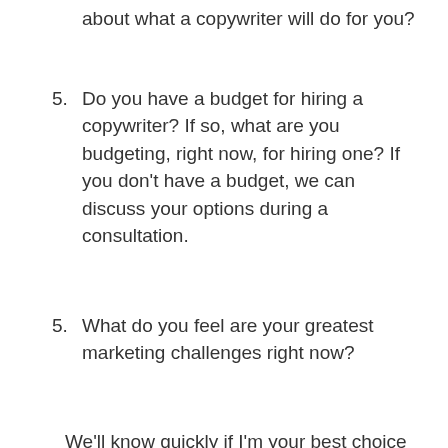about what a copywriter will do for you?
5. Do you have a budget for hiring a copywriter? If so, what are you budgeting, right now, for hiring one? If you don't have a budget, we can discuss your options during a consultation.
5. What do you feel are your greatest marketing challenges right now?
We'll know quickly if I'm your best choice for a